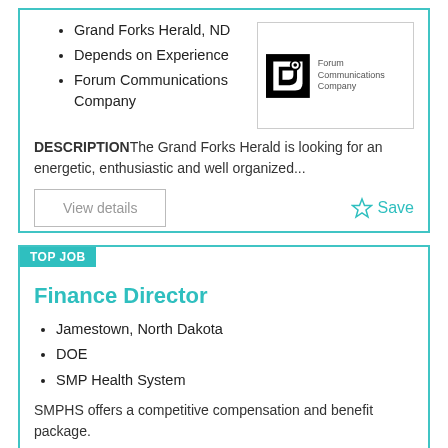Grand Forks Herald, ND
Depends on Experience
Forum Communications Company
[Figure (logo): Forum Communications Company logo with stylized F icon]
DESCRIPTIONThe Grand Forks Herald is looking for an energetic, enthusiastic and well organized...
View details
Save
TOP JOB
Finance Director
Jamestown, North Dakota
DOE
SMP Health System
SMPHS offers a competitive compensation and benefit package.